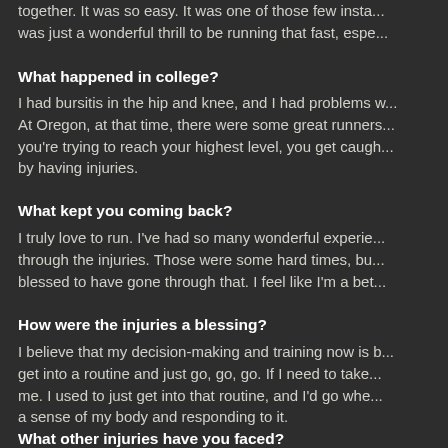together.  It was so easy.  It was one of those few insta... was just a wonderful thrill to be running that fast, espe...
What happened in college?
I had bursitis in the hip and knee, and I had problems w... At Oregon, at that time, there were some great runners... you're trying to reach your highest level, you get caugh... by having injuries.
What kept you coming back?
I truly love to run.  I've had so many wonderful experie... through the injuries.  Those were some hard times, bu... blessed to have gone through that.  I feel like I'm a bet...
How were the injuries a blessing?
I believe that my decision-making and training now is b... get into a routine and just go, go, go.  If I need to take... me.  I used to just get into that routine, and I'd go whe... a sense of my body and responding to it.
What other injuries have you faced?